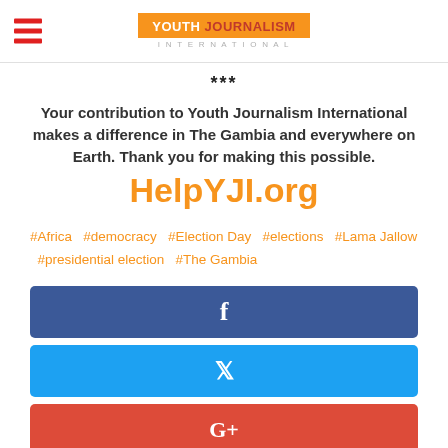Youth Journalism International
***
Your contribution to Youth Journalism International makes a difference in The Gambia and everywhere on Earth. Thank you for making this possible.
HelpYJI.org
#Africa  #democracy  #Election Day  #elections  #Lama Jallow  #presidential election  #The Gambia
[Figure (screenshot): Facebook share button (blue)]
[Figure (screenshot): Twitter share button (light blue)]
[Figure (screenshot): Google+ share button (red-orange)]
[Figure (screenshot): Pinterest share button (dark red), partially visible]